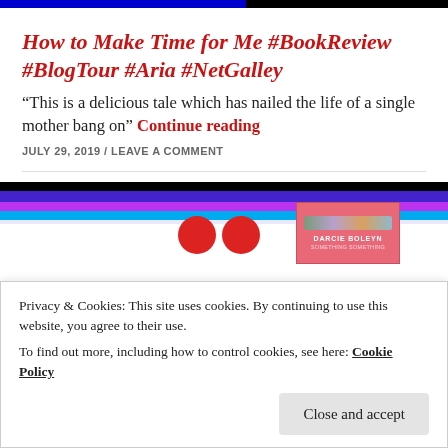How to Make Time for Me #BookReview #BlogTour #Aria #NetGalley
“This is a delicious tale which has nailed the life of a single mother bang on” Continue reading
JULY 29, 2019 / LEAVE A COMMENT
[Figure (other): Blog header banner with horizontal colored stripes (black, purple, magenta, cyan) and a pink book cover for Darcie Boleyn and two red circular avatar images]
Privacy & Cookies: This site uses cookies. By continuing to use this website, you agree to their use.
To find out more, including how to control cookies, see here: Cookie Policy